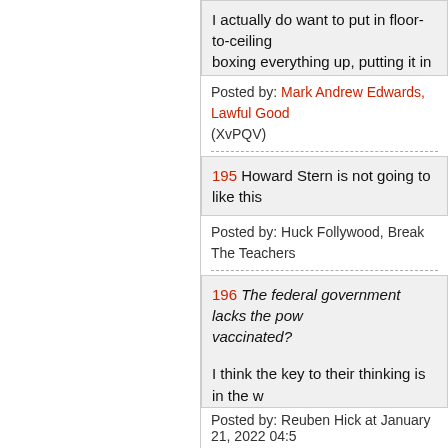I actually do want to put in floor-to-ceiling boxing everything up, putting it in storage
Posted by: Mark Andrew Edwards, Lawful Good (XvPQV)
195 Howard Stern is not going to like this
Posted by: Huck Follywood, Break The Teachers
196 The federal government lacks the pow vaccinated?
I think the key to their thinking is in the w Establishment sees castes of chattel - such (illegal aliens).

The question quite frankly comes down to anything they want into your body, as mu be responsible for any consequences? Wh employee is considered chattel?

Is this in any way compatible with We Th
Posted by: Reuben Hick at January 21, 2022 04:5